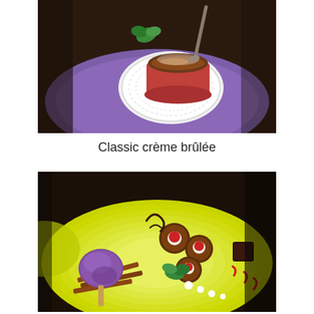[Figure (photo): A crème brûlée dessert in a red ramekin on a white doily on a purple plate, with a spoon and mint garnish, dark background.]
Classic crème brûlée
[Figure (photo): A dessert plate with yellow-green rim plate featuring chocolate truffles topped with cream and berry sauce, a purple sugar-coated frozen pop on cinnamon sticks, white cream dots, and red berry sauce swirls.]